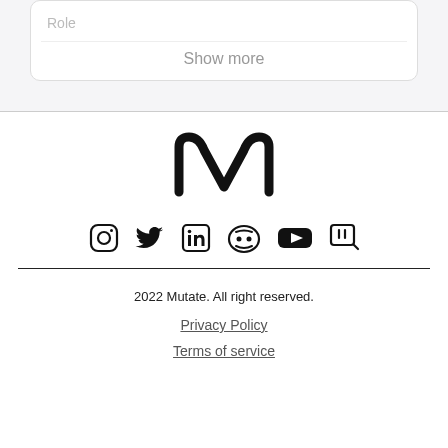Role
Show more
[Figure (logo): Mutate logo — stylized M with two arches in black]
[Figure (infographic): Social media icons row: Instagram, Twitter, LinkedIn, Discord, YouTube, Twitch]
2022 Mutate. All right reserved.
Privacy Policy
Terms of service